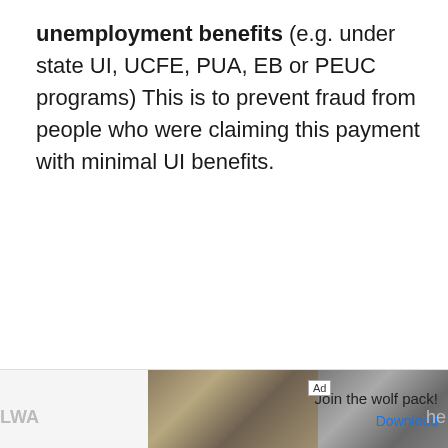unemployment benefits (e.g. under state UI, UCFE, PUA, EB or PEUC programs) This is to prevent fraud from people who were claiming this payment with minimal UI benefits.
[Figure (other): Advertisement banner showing wolves with text 'Join the wolf pack!' and a 'Download' link. Ad label visible in top left of banner.]